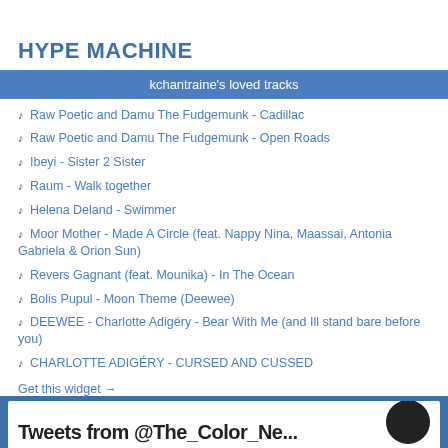HYPE MACHINE
kchantraine's loved tracks
Raw Poetic and Damu The Fudgemunk - Cadillac
Raw Poetic and Damu The Fudgemunk - Open Roads
Ibeyi - Sister 2 Sister
Raum - Walk together
Helena Deland - Swimmer
Moor Mother - Made A Circle (feat. Nappy Nina, Maassai, Antonia Gabriela & Orion Sun)
Revers Gagnant (feat. Mounika) - In The Ocean
Bolis Pupul - Moon Theme (Deewee)
DEEWEE - Charlotte Adigéry - Bear With Me (and Ill stand bare before you)
CHARLOTTE ADIGÉRY - CURSED AND CUSSED
Get this widget →
[Figure (screenshot): Bottom portion of a Hype Machine widget with blue border and partial text visible]